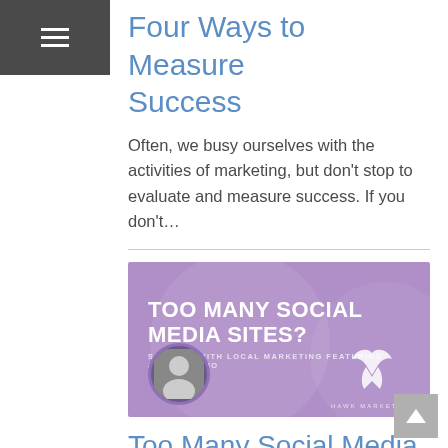≡
Four Ways to Measure Success
Often, we busy ourselves with the activities of marketing, but don't stop to evaluate and measure success. If you don't…
[Figure (illustration): Purple banner image for a podcast or article titled 'TOO MANY SOCIAL MEDIA SITES?' with subtitle 'SUCCESS WITH LOCAL MARKETING FEATURING JOHN MAGGIO', showing a circular black-and-white headshot photo on the left and a white bird (hawk) logo with 'HAWK MARKETING' text on the right, all on a purple background.]
Too Many Social Media